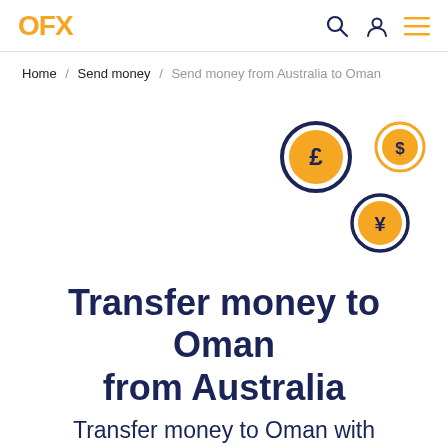OFX
Home / Send money / Send money from Australia to Oman
[Figure (illustration): Three currency coin icons (pound sterling, dollar, yen) arranged in a scattered pattern on a white background. Each coin has a dark navy border ring and an orange filled circle with the currency symbol inside.]
Transfer money to Oman from Australia
Transfer money to Oman with